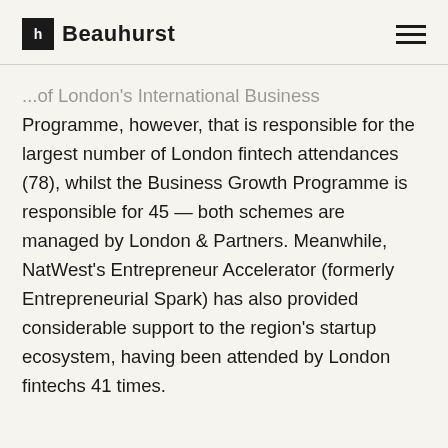Beauhurst
...of London's International Business Programme, however, that is responsible for the largest number of London fintech attendances (78), whilst the Business Growth Programme is responsible for 45 — both schemes are managed by London & Partners. Meanwhile, NatWest's Entrepreneur Accelerator (formerly Entrepreneurial Spark) has also provided considerable support to the region's startup ecosystem, having been attended by London fintechs 41 times.